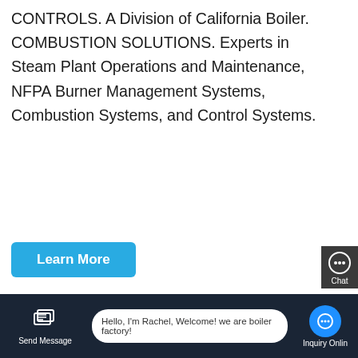CONTROLS. A Division of California Boiler. COMBUSTION SOLUTIONS. Experts in Steam Plant Operations and Maintenance, NFPA Burner Management Systems, Combustion Systems, and Control Systems.
[Figure (screenshot): Learn More button - blue rounded rectangle with white bold text]
[Figure (photo): Industrial boiler plant interior showing large cylindrical boiler tanks, yellow safety railings/pipes, and associated industrial equipment]
[Figure (screenshot): WhatsApp green icon button overlaid on boiler photo with green Contact us now! bubble]
[Figure (screenshot): Bottom chat bar with dark background showing Send Message icon, Rachel welcome message bubble, and Inquiry Online circle button]